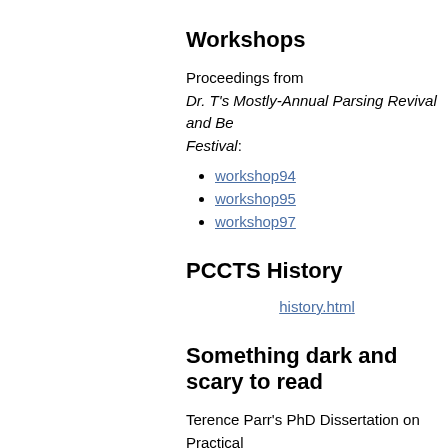generator.
Workshops
Proceedings from Dr. T's Mostly-Annual Parsing Revival and Be Festival:
workshop94
workshop95
workshop97
PCCTS History
history.html
Something dark and scary to read
Terence Parr's PhD Dissertation on Practical for k>1 parsing that describes the theoretical the construction of ANTLR's parsers:
parr.phd.thesis.pdf
Who is this Terence Parr Guy?
The ANTLR guy.